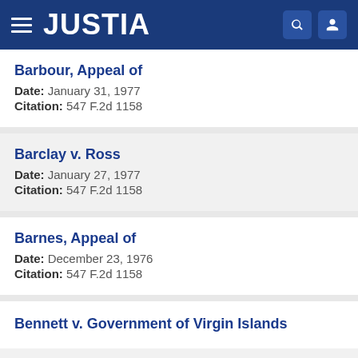JUSTIA
Barbour, Appeal of
Date: January 31, 1977
Citation: 547 F.2d 1158
Barclay v. Ross
Date: January 27, 1977
Citation: 547 F.2d 1158
Barnes, Appeal of
Date: December 23, 1976
Citation: 547 F.2d 1158
Bennett v. Government of Virgin Islands